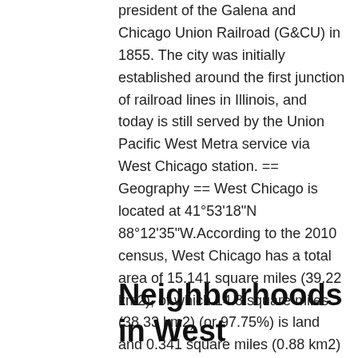president of the Galena and Chicago Union Railroad (G&CU) in 1855. The city was initially established around the first junction of railroad lines in Illinois, and today is still served by the Union Pacific West Metra service via West Chicago station. == Geography == West Chicago is located at 41°53'18"N 88°12'35"W.According to the 2010 census, West Chicago has a total area of 15.141 square miles (39.22 km2), of which 14.8 square miles (38.33 km2) (or 97.75%) is land and 0.341 square miles (0.88 km2) (or 2.25%) is water.
Neighborhoods in West